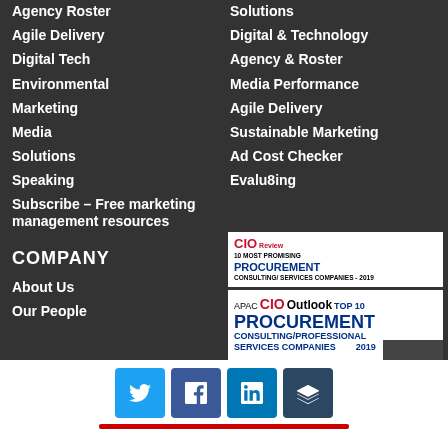Agency Roster
Agile Delivery
Digital Tech
Environmental
Marketing
Media
Solutions
Speaking
Subscribe – Free marketing management resources
Solutions
Digital & Technology
Agency & Roster
Media Performance
Agile Delivery
Sustainable Marketing
Ad Cost Checker
Evalu8ing
COMPANY
About Us
Our People
[Figure (logo): CIO Review - 10 Most Promising Procurement Consulting/Services Companies 2019 badge]
[Figure (logo): APAC CIO Outlook - Top 10 Procurement Consulting/Professional Services Companies 2019 badge]
[Figure (infographic): Social media share buttons: Twitter, Facebook, LinkedIn, Buffer and a red progress/share bar below]